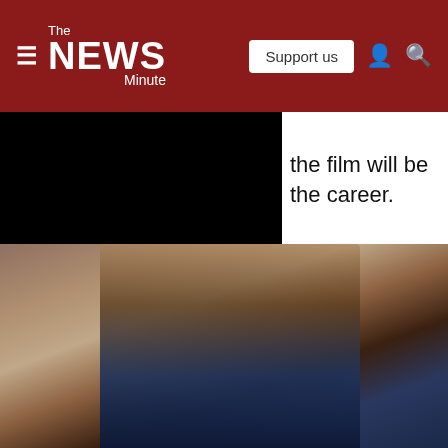The News Minute — Support us
the film will be the career.
[Figure (photo): Black redacted rectangle (top left) beside partial text. Below: man with beard wearing brown leather jacket and knit sweater sitting on a dark couch, surrounded by blurred background. Digital Native badge at bottom right.]